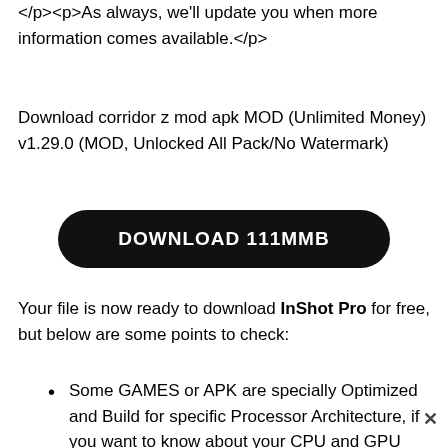</p><p>As always, we'll update you when more information comes available.</p>
Download corridor z mod apk MOD (Unlimited Money) v1.29.0 (MOD, Unlocked All Pack/No Watermark)
[Figure (other): Black rounded button with white bold text reading DOWNLOAD 111MMB]
Your file is now ready to download InShot Pro for free, but below are some points to check:
Some GAMES or APK are specially Optimized and Build for specific Processor Architecture, if you want to know about your CPU and GPU please Use CP